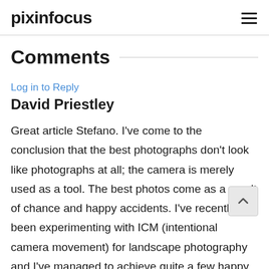pixinfocus
Comments
Log in to Reply
David Priestley
Great article Stefano. I've come to the conclusion that the best photographs don't look like photographs at all; the camera is merely used as a tool. The best photos come as a result of chance and happy accidents. I've recently been experimenting with ICM (intentional camera movement) for landscape photography and I've managed to achieve quite a few happy accidents. Everyone's photos look exactly the